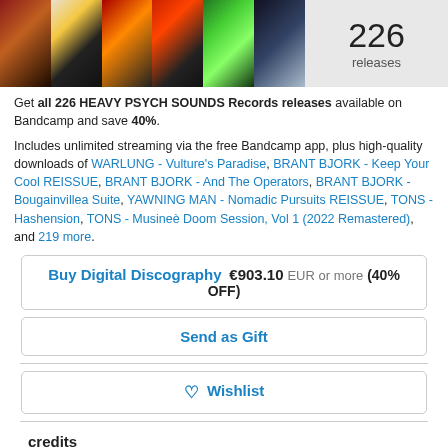[Figure (photo): Collage strip of 6 album cover thumbnails from Heavy Psych Sounds Records]
226 releases
Get all 226 HEAVY PSYCH SOUNDS Records releases available on Bandcamp and save 40%.
Includes unlimited streaming via the free Bandcamp app, plus high-quality downloads of WARLUNG - Vulture's Paradise, BRANT BJORK - Keep Your Cool REISSUE, BRANT BJORK - And The Operators, BRANT BJORK - Bougainvillea Suite, YAWNING MAN - Nomadic Pursuits REISSUE, TONS - Hashension, TONS - Musineè Doom Session, Vol 1 (2022 Remastered), and 219 more.
Buy Digital Discography €903.10 EUR or more (40% OFF)
Send as Gift
♥ Wishlist
credits